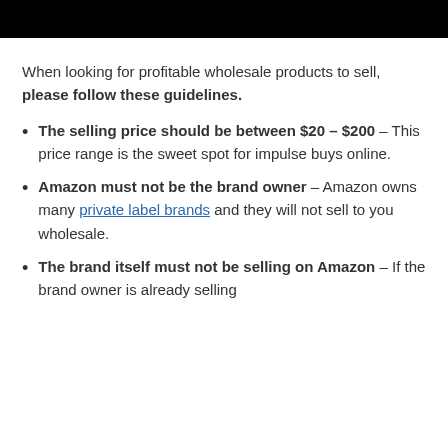[Figure (other): Black header bar at the top of the page]
When looking for profitable wholesale products to sell, please follow these guidelines.
The selling price should be between $20 – $200 – This price range is the sweet spot for impulse buys online.
Amazon must not be the brand owner – Amazon owns many private label brands and they will not sell to you wholesale.
The brand itself must not be selling on Amazon – If the brand owner is already selling